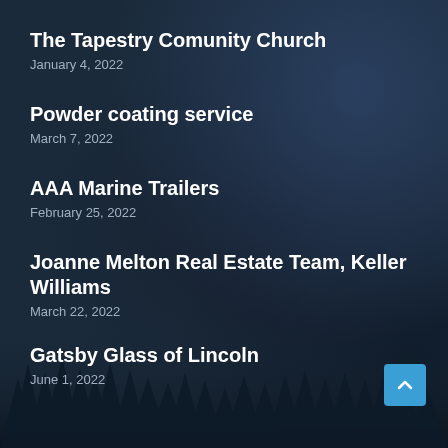The Tapestry Comunity Church
January 4, 2022
Powder coating service
March 7, 2022
AAA Marine Trailers
February 25, 2022
Joanne Melton Real Estate Team, Keller Williams
March 22, 2022
Gatsby Glass of Lincoln
June 1, 2022